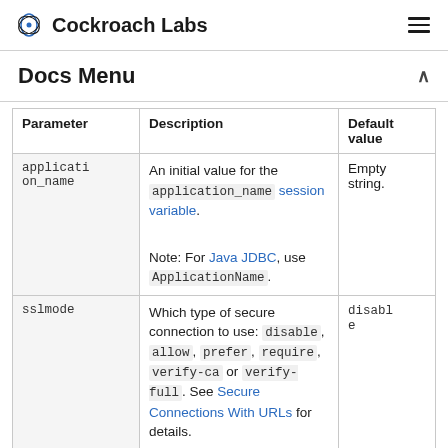Cockroach Labs
Docs Menu
| Parameter | Description | Default value |
| --- | --- | --- |
| application_name | An initial value for the application_name session variable.

Note: For Java JDBC, use ApplicationName. | Empty string. |
| sslmode | Which type of secure connection to use: disable, allow, prefer, require, verify-ca or verify-full. See Secure Connections With URLs for details. | disable |